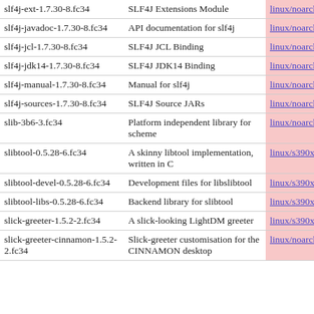| Package | Description | Arch |
| --- | --- | --- |
| slf4j-ext-1.7.30-8.fc34 | SLF4J Extensions Module | linux/noarch |
| slf4j-javadoc-1.7.30-8.fc34 | API documentation for slf4j | linux/noarch |
| slf4j-jcl-1.7.30-8.fc34 | SLF4J JCL Binding | linux/noarch |
| slf4j-jdk14-1.7.30-8.fc34 | SLF4J JDK14 Binding | linux/noarch |
| slf4j-manual-1.7.30-8.fc34 | Manual for slf4j | linux/noarch |
| slf4j-sources-1.7.30-8.fc34 | SLF4J Source JARs | linux/noarch |
| slib-3b6-3.fc34 | Platform independent library for scheme | linux/noarch |
| slibtool-0.5.28-6.fc34 | A skinny libtool implementation, written in C | linux/s390x |
| slibtool-devel-0.5.28-6.fc34 | Development files for libslibtool | linux/s390x |
| slibtool-libs-0.5.28-6.fc34 | Backend library for slibtool | linux/s390x |
| slick-greeter-1.5.2-2.fc34 | A slick-looking LightDM greeter | linux/s390x |
| slick-greeter-cinnamon-1.5.2-2.fc34 | Slick-greeter customisation for the CINNAMON desktop | linux/noarch |